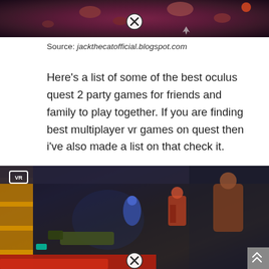[Figure (screenshot): Top portion of a video game screenshot with dark red/purple background showing floating rocks and game UI with a close (X) button overlay]
Source: jackthecatofficial.blogspot.com
Here's a list of some of the best oculus quest 2 party games for friends and family to play together. If you are finding best multiplayer vr games on quest then i've also made a list on that check it.
[Figure (screenshot): VR game screenshot showing first-person shooter perspective in a sci-fi corridor with armored characters and weapons visible, VR badge in top left corner, close (X) button and scroll button overlaid]